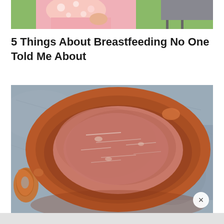[Figure (photo): Partial photo of a person wearing a pink floral outfit, outdoors on grass]
5 Things About Breastfeeding No One Told Me About
[Figure (photo): Overhead view of raw ground meat in a round terracotta clay bowl on a gray stone surface, with partial pretzel visible on the left side. A close/X button is visible in the bottom right corner.]